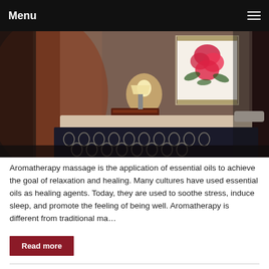Menu
[Figure (photo): A dimly lit massage therapy room with a massage table covered in a dark patterned blanket, a nightstand with a lit lamp, and a framed floral artwork on the wall.]
Aromatherapy massage is the application of essential oils to achieve the goal of relaxation and healing. Many cultures have used essential oils as healing agents. Today, they are used to soothe stress, induce sleep, and promote the feeling of being well. Aromatherapy is different from traditional ma…
Read more